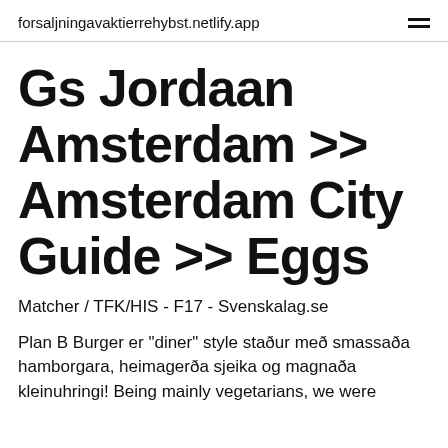forsaljningavaktierrehybst.netlify.app
Gs Jordaan Amsterdam >> Amsterdam City Guide >> Eggs
Matcher / TFK/HIS - F17 - Svenskalag.se
Plan B Burger er "diner" style staður með smassaða hamborgara, heimagerða sjeika og magnaða kleinuhringi! Being mainly vegetarians, we were